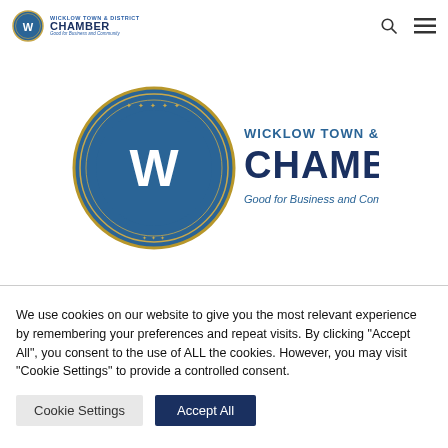Wicklow Town & District Chamber – Navigation bar with logo, search icon, and menu icon
[Figure (logo): Wicklow Town & District Chamber circular crest logo with text: WICKLOW TOWN & DISTRICT CHAMBER, Good for Business and Community]
We use cookies on our website to give you the most relevant experience by remembering your preferences and repeat visits. By clicking "Accept All", you consent to the use of ALL the cookies. However, you may visit "Cookie Settings" to provide a controlled consent.
Cookie Settings   Accept All